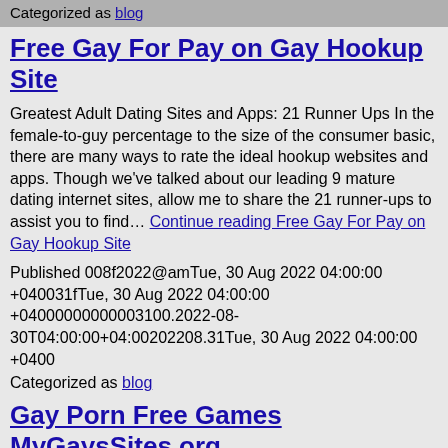Categorized as blog
Free Gay For Pay on Gay Hookup Site
Greatest Adult Dating Sites and Apps: 21 Runner Ups In the female-to-guy percentage to the size of the consumer basic, there are many ways to rate the ideal hookup websites and apps. Though we've talked about our leading 9 mature dating internet sites, allow me to share the 21 runner-ups to assist you to find… Continue reading Free Gay For Pay on Gay Hookup Site
Published 008f2022@amTue, 30 Aug 2022 04:00:00 +040031fTue, 30 Aug 2022 04:00:00 +04000000000003100.2022-08-30T04:00:00+04:00202208.31Tue, 30 Aug 2022 04:00:00 +0400
Categorized as blog
Gay Porn Free Games MyGaysSites.org
Absolutely nothing to stop the person from finding what he's trying to find, however justify. The website has a fairly outdated-designed style. All videos are categorized, plus you can also find several super hot galleries. 5. GayTube GayTube is also considered